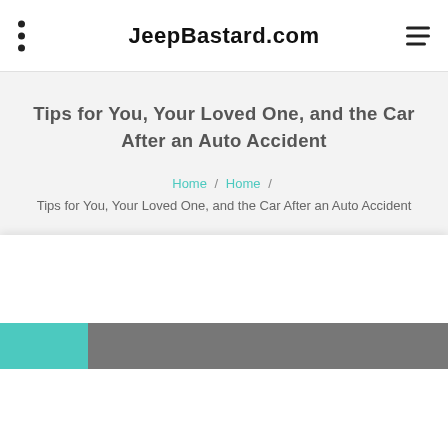JeepBastard.com
Tips for You, Your Loved One, and the Car After an Auto Accident
Home / Home / Tips for You, Your Loved One, and the Car After an Auto Accident
[Figure (photo): Bottom strip with teal block on left and dark image area on right, partially visible at bottom of page]